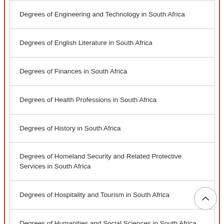Degrees of Engineering and Technology in South Africa
Degrees of English Literature in South Africa
Degrees of Finances in South Africa
Degrees of Health Professions in South Africa
Degrees of History in South Africa
Degrees of Homeland Security and Related Protective Services in South Africa
Degrees of Hospitality and Tourism in South Africa
Degrees of Humanities and Social Sciences in South Africa